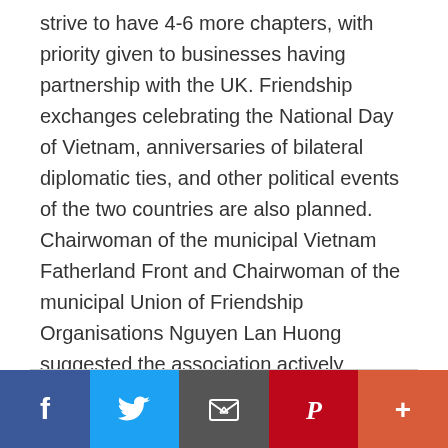strive to have 4-6 more chapters, with priority given to businesses having partnership with the UK. Friendship exchanges celebrating the National Day of Vietnam, anniversaries of bilateral diplomatic ties, and other political events of the two countries are also planned. Chairwoman of the municipal Vietnam Fatherland Front and Chairwoman of the municipal Union of Friendship Organisations Nguyen Lan Huong suggested the association actively expand ties with mass and friendship organisations in … [Read more...]
[Figure (other): Social media sharing bar with Facebook, Twitter, Email, Pinterest, and More buttons]